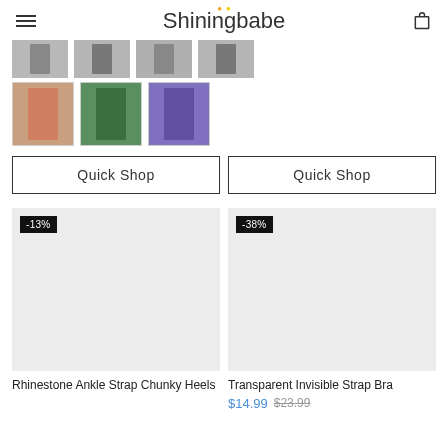Shiningbabe
[Figure (photo): Row of product thumbnail images showing clothing items/outfits]
Quick Shop | Quick Shop
[Figure (photo): Product image placeholder with -13% discount badge for Rhinestone Ankle Strap Chunky Heels]
[Figure (photo): Product image placeholder with -38% discount badge for Transparent Invisible Strap Bra]
Rhinestone Ankle Strap Chunky Heels
Transparent Invisible Strap Bra $14.99 $23.99